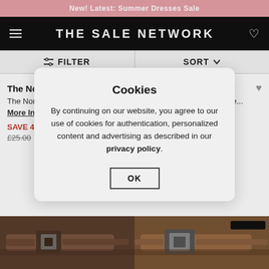New! Latest: Summer Dresses Sale
THE SALE NETWORK
FILTER   SORT
The North Face
The North Face Dock Worke... More Info
SAVE 40%
£25.00  £
Boss
Boss Men's Canzion Leathe... More Info
SAVE 00%
Cookies
By continuing on our website, you agree to our use of cookies for authentication, personalized content and advertising as described in our privacy policy.
OK
[Figure (photo): Two leather belts shown at the bottom of the page, one darker brown on the left and one mid-brown on the right with a silver buckle.]